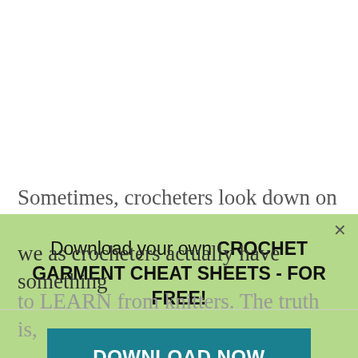Sometimes, crocheters look down on
[Figure (screenshot): Green popup overlay with close button (×), text 'Download your own CROCHET GARMENT CHEAT SHEETS - FOR FREE!' and a teal 'DOWNLOAD NOW' button]
we as crocheters actually have something
to LEARN from knitters. The truth is,